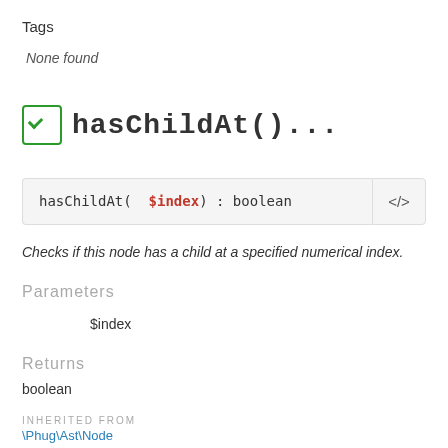Tags
None found
hasChildAt()...
hasChildAt(  $index) : boolean
Checks if this node has a child at a specified numerical index.
Parameters
$index
Returns
boolean
INHERITED FROM
\Phug\Ast\Node